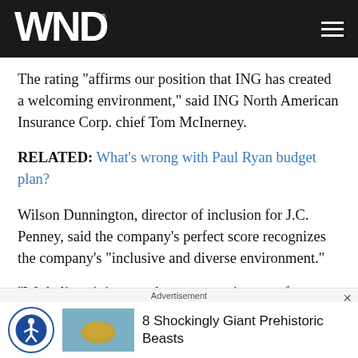WND
The rating "affirms our position that ING has created a welcoming environment," said ING North American Insurance Corp. chief Tom McInerney.
RELATED: What's wrong with Paul Ryan budget plan?
Wilson Dunnington, director of inclusion for J.C. Penney, said the company's perfect score recognizes the company's "inclusive and diverse environment."
"We believe it is a true honor to receive a perfect rankin…
Advertisement
8 Shockingly Giant Prehistoric Beasts